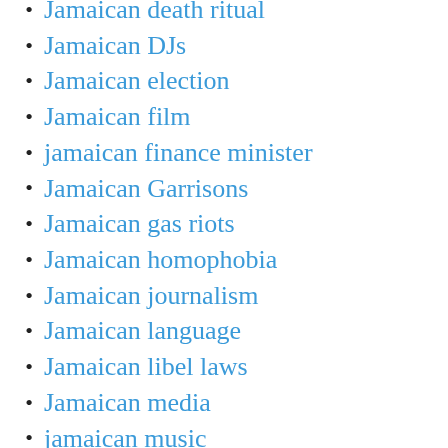Jamaican death ritual
Jamaican DJs
Jamaican election
Jamaican film
jamaican finance minister
Jamaican Garrisons
Jamaican gas riots
Jamaican homophobia
Jamaican journalism
Jamaican language
Jamaican libel laws
Jamaican media
jamaican music
Jamaican Police
Jamaican Police Commish resigns
Jamaican Police Commissioner